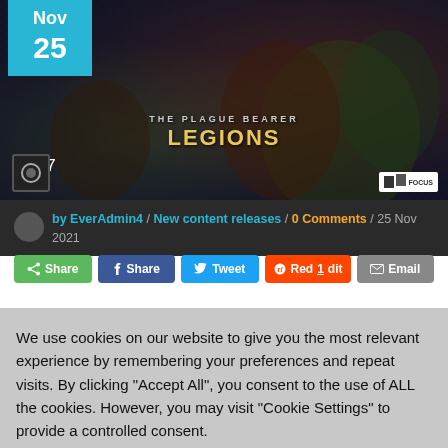[Figure (screenshot): Game banner image for 'Legions' with dark fantasy artwork showing armored warriors. Overlaid with a teal/blue date badge showing 'Nov 25' and a heart/likes count of 17.]
by EverAdmin4 / New content releases / 0 Comments / 25 Nov 2021
Share | Share | Tweet | Red1dit | Email
We use cookies on our website to give you the most relevant experience by remembering your preferences and repeat visits. By clicking "Accept All", you consent to the use of ALL the cookies. However, you may visit "Cookie Settings" to provide a controlled consent.
Cookie Settings | Accept All